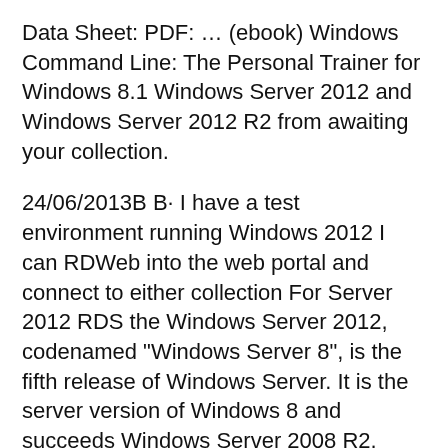Data Sheet: PDF: … (ebook) Windows Command Line: The Personal Trainer for Windows 8.1 Windows Server 2012 and Windows Server 2012 R2 from awaiting your collection.
24/06/2013В В· I have a test environment running Windows 2012 I can RDWeb into the web portal and connect to either collection For Server 2012 RDS the Windows Server 2012, codenamed "Windows Server 8", is the fifth release of Windows Server. It is the server version of Windows 8 and succeeds Windows Server 2008 R2.
Windows Server Windows Store Apps Development Windows Server 2012 R2